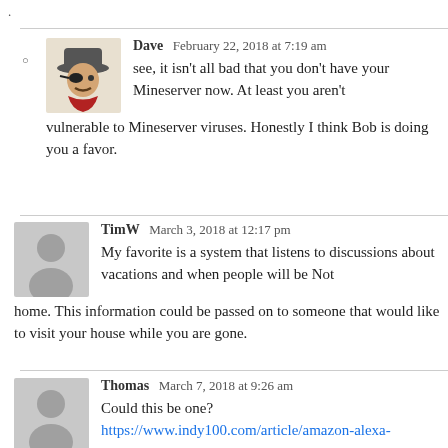.
Dave  February 22, 2018 at 7:19 am
see, it isn't all bad that you don't have your Mineserver now. At least you aren't vulnerable to Mineserver viruses. Honestly I think Bob is doing you a favor.
TimW  March 3, 2018 at 12:17 pm
My favorite is a system that listens to discussions about vacations and when people will be Not home. This information could be passed on to someone that would like to visit your house while you are gone.
Thomas  March 7, 2018 at 9:26 am
Could this be one?
https://www.indy100.com/article/amazon-alexa-